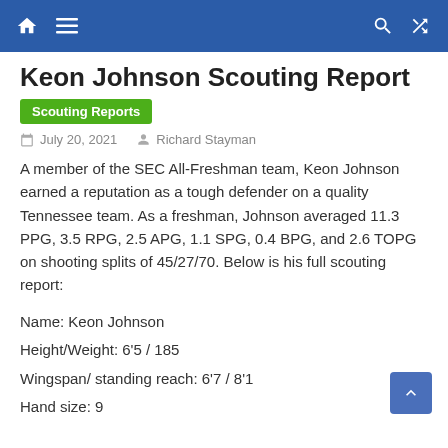Keon Johnson Scouting Report
Keon Johnson Scouting Report
Scouting Reports
July 20, 2021   Richard Stayman
A member of the SEC All-Freshman team, Keon Johnson earned a reputation as a tough defender on a quality Tennessee team. As a freshman, Johnson averaged 11.3 PPG, 3.5 RPG, 2.5 APG, 1.1 SPG, 0.4 BPG, and 2.6 TOPG on shooting splits of 45/27/70. Below is his full scouting report:
Name: Keon Johnson
Height/Weight: 6’5 / 185
Wingspan/ standing reach: 6’7 / 8’1
Hand size: 9